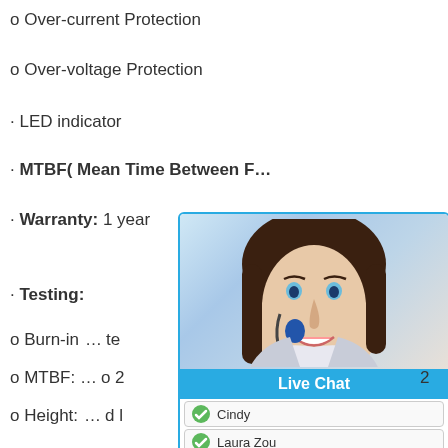o Over-current Protection
o Over-voltage Protection
· LED indicator
· MTBF( Mean Time Between F…
· Warranty: 1 year
· Testing:
o Burn-in … te
o MTBF: … o 2
o Height: … d l
[Figure (screenshot): Live Chat widget overlay showing a smiling customer service agent photo, a 'Live Chat' blue button, and four agent names: Cindy (green checkmark), Laura Zou (green checkmark), Cindy (QQ icon), Laura Zou (QQ icon)]